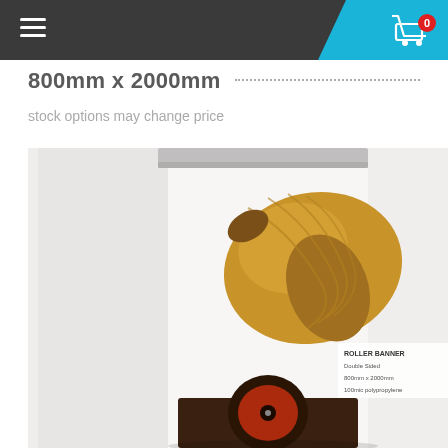800mm x 2000mm
stock options may change price
[Figure (photo): Product photo of a roller banner stand displaying a gramophone/vintage record player horn image. The banner stand is shown from an angle, with visible roller mechanism at top. A label on the banner reads: ROLLER BANNER, Double Sided, 800mm x 2000mm, 100mic polypropylene.]